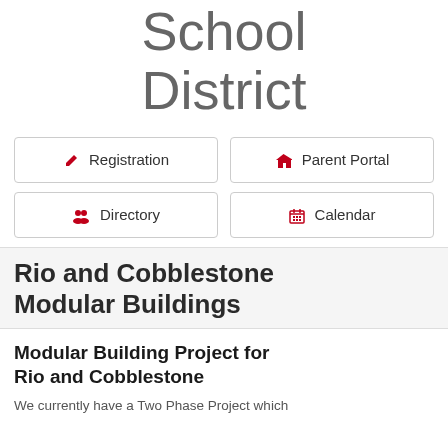School District
Registration
Parent Portal
Directory
Calendar
Rio and Cobblestone Modular Buildings
Modular Building Project for Rio and Cobblestone
We currently have a Two Phase Project which